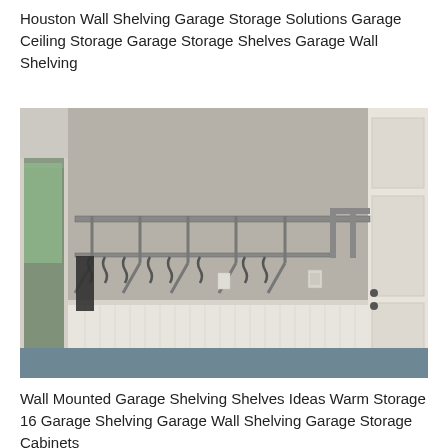Houston Wall Shelving Garage Storage Solutions Garage Ceiling Storage Garage Storage Shelves Garage Wall Shelving
[Figure (photo): Interior garage photo showing a metal wall-mounted shelving rack with angled brackets and hanging hooks fixed to a beige/gray wall above white beadboard wainscoting. A white door is visible on the right. Blue epoxy floor and a glass door on the left.]
Wall Mounted Garage Shelving Shelves Ideas Warm Storage 16 Garage Shelving Garage Wall Shelving Garage Storage Cabinets